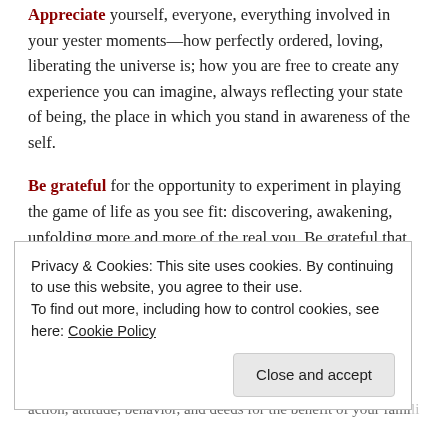Appreciate yourself, everyone, everything involved in your yester moments—how perfectly ordered, loving, liberating the universe is; how you are free to create any experience you can imagine, always reflecting your state of being, the place in which you stand in awareness of the self.
Be grateful for the opportunity to experiment in playing the game of life as you see fit: discovering, awakening, unfolding more and more of the real you. Be grateful that past tense reality is not to be hoarded but to be released... deliberately.
Now you can love yourself deeply as you are. You can unconditionally share your love in thought, speech, intention,
Privacy & Cookies: This site uses cookies. By continuing to use this website, you agree to their use.
To find out more, including how to control cookies, see here: Cookie Policy